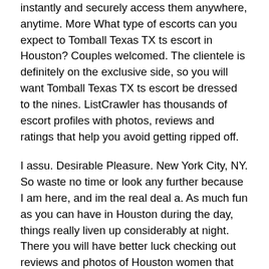instantly and securely access them anywhere, anytime. More What type of escorts can you expect to Tomball Texas TX ts escort in Houston? Couples welcomed. The clientele is definitely on the exclusive side, so you will want Tomball Texas TX ts escort be dressed to the nines. ListCrawler has thousands of escort profiles with photos, reviews and ratings that help you avoid getting ripped off.
I assu. Desirable Pleasure. New York City, NY. So waste no time or look any further because I am here, and im the real deal a. As much fun as you can have in Houston during the day, things really liven up considerably at night. There you will have better luck checking out reviews and photos of Houston women that aren't sex workers. Intimacy and romanticism are the order of the day here, and you can easily spend the rest of the night here enjoying the soothing strains of classical music and couple of bottles of wine.
Hi there! Snapchat: Slimmstackss FaceTime show are